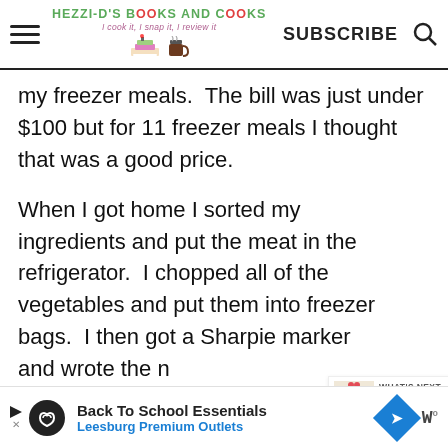HEZZI-D'S BOOKS AND COOKS | I cook it, I snap it, I review it | SUBSCRIBE
my freezer meals.  The bill was just under $100 but for 11 freezer meals I thought that was a good price.
When I got home I sorted my ingredients and put the meat in the refrigerator.  I chopped all of the vegetables and put them into freezer bags.  I then got a Sharpie marker and wrote the name of the recipe, the date, and any instructions
[Figure (screenshot): WHAT'S NEXT arrow with Three Tiered Wedding Cake thumbnail and label]
[Figure (screenshot): Back To School Essentials Leesburg Premium Outlets advertisement banner at bottom of page]